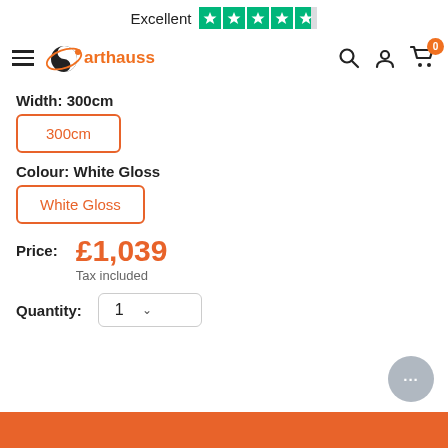Excellent [4.5 stars Trustpilot rating]
[Figure (logo): Arthauss brand logo with yin-yang style globe and orange brand name text]
Width: 300cm
300cm (selected option button)
Colour: White Gloss
White Gloss (selected option button)
Price: £1,039
Tax included
Quantity: 1